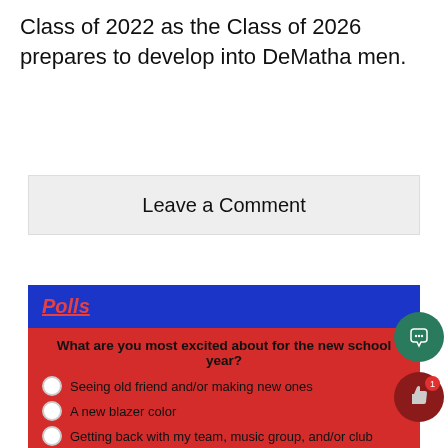Class of 2022 as the Class of 2026 prepares to develop into DeMatha men.
Leave a Comment
Polls
What are you most excited about for the new school year?
Seeing old friend and/or making new ones
A new blazer color
Getting back with my team, music group, and/or club
Seeing my teachers again
A new elective
Other
Vote